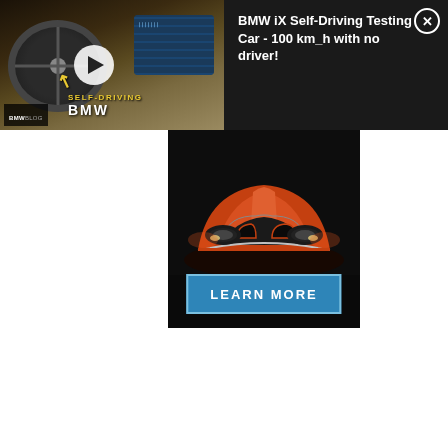[Figure (screenshot): BMW iX Self-Driving car video thumbnail showing steering wheel, dashboard screen, with yellow 'SELF-DRIVING BMW' text overlay, play button, and BMWBLOG watermark. Title bar reads 'BMW iX Self-Dri...' with share icon.]
BMW iX Self-Driving Testing Car - 100 km_h with no driver!
[Figure (photo): Advertisement showing front view of orange/red BMW concept car in dark studio lighting with a 'LEARN MORE' button overlay]